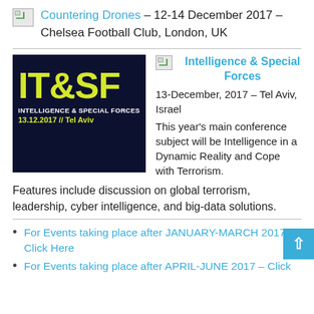Countering Drones – 12-14 December 2017 – Chelsea Football Club, London, UK
[Figure (photo): IT&SF Intelligence & Special Forces conference logo. Dark navy background with large yellow-green text IT&SF, subtitle INTELLIGENCE & SPECIAL FORCES, date 13.12.2017 // Tel Aviv]
Intelligence & Special Forces
13-December, 2017 – Tel Aviv, Israel
This year's main conference subject will be Intelligence in a Dynamic Reality and Cope with Terrorism. Features include discussion on global terrorism, leadership, cyber intelligence, and big-data solutions.
For Events taking place after JANUARY-MARCH 2017 – Click Here
For Events taking place after APRIL-JUNE 2017 – Click